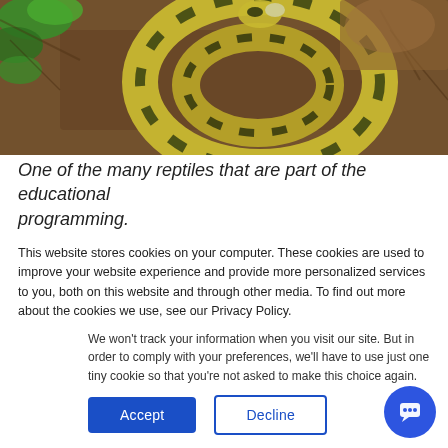[Figure (photo): A yellow and black patterned snake coiled among brown fibrous material (coconut coir or bark mulch), with green leaves visible in the upper left corner. The snake is photographed from above in what appears to be an enclosure.]
One of the many reptiles that are part of the educational programming.
This website stores cookies on your computer. These cookies are used to improve your website experience and provide more personalized services to you, both on this website and through other media. To find out more about the cookies we use, see our Privacy Policy.
We won't track your information when you visit our site. But in order to comply with your preferences, we'll have to use just one tiny cookie so that you're not asked to make this choice again.